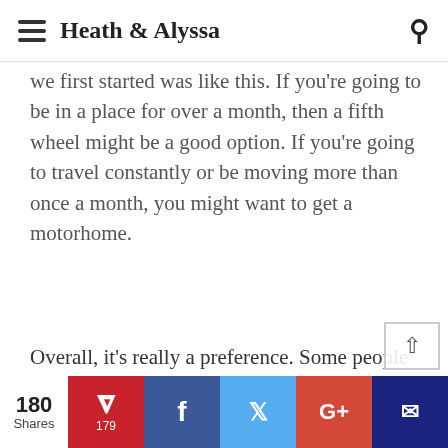Heath & Alyssa
we first started was like this. If you're going to be in a place for over a month, then a fifth wheel might be a good option. If you're going to travel constantly or be moving more than once a month, you might want to get a motorhome.
Overall, it's really a preference. Some people really like fifth wheels, you can get a lot more room in them for cheaper than a motorhome. Personally, I like the all inclusive nature of a motorhome. We constantly pull over to
180 Shares | Pinterest 179 | Facebook | Twitter | Google+ | Newsletter